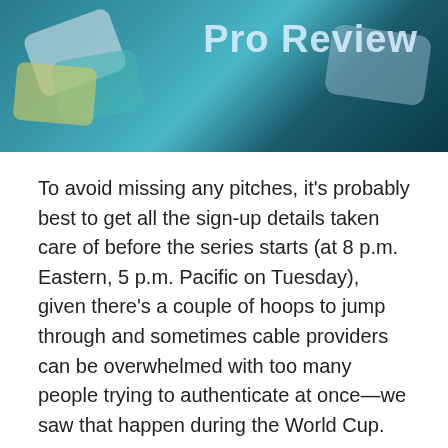[Figure (photo): Banner image showing colorful card shapes (teal, yellow, blue-gray) against a teal/dark blue background with 'Pro Review' text overlay]
To avoid missing any pitches, it’s probably best to get all the sign-up details taken care of before the series starts (at 8 p.m. Eastern, 5 p.m. Pacific on Tuesday), given there’s a couple of hoops to jump through and sometimes cable providers can be overwhelmed with too many people trying to authenticate at once—we saw that happen during the World Cup.
Keep score with iScore
Keeping score is a time-honored tradition in baseball. If you’re going to one of the games,